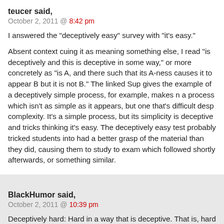teucer said,
October 2, 2011 @ 8:42 pm
I answered the "deceptively easy" survey with "it's easy."
Absent context cuing it as meaning something else, I read "is deceptively and this is deceptive in some way," or more concretely as "is A, and there such that its A-ness causes it to appear B but it is not B." The linked Sup gives the example of a deceptively simple process, for example, makes n a process which isn't as simple as it appears, but one that's difficult desp complexity. It's a simple process, but its simplicity is deceptive and tricks thinking it's easy. The deceptively easy test probably tricked students into had a better grasp of the material than they did, causing them to study to exam which followed shortly afterwards, or something similar.
BlackHumor said,
October 2, 2011 @ 10:39 pm
Deceptively hard: Hard in a way that is deceptive. That is, hard but did no hard.
Deceptively easy: Easy in a way that is deceptive. That is, easy but did n easy.